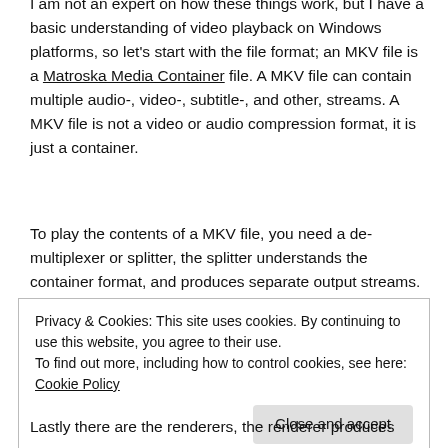I am not an expert on how these things work, but I have a basic understanding of video playback on Windows platforms, so let's start with the file format; an MKV file is a Matroska Media Container file. A MKV file can contain multiple audio-, video-, subtitle-, and other, streams. A MKV file is not a video or audio compression format, it is just a container.
To play the contents of a MKV file, you need a de-multiplexer or splitter, the splitter understands the container format, and produces separate output streams.
Privacy & Cookies: This site uses cookies. By continuing to use this website, you agree to their use.
To find out more, including how to control cookies, see here: Cookie Policy
Lastly there are the renderers, the renderer produces